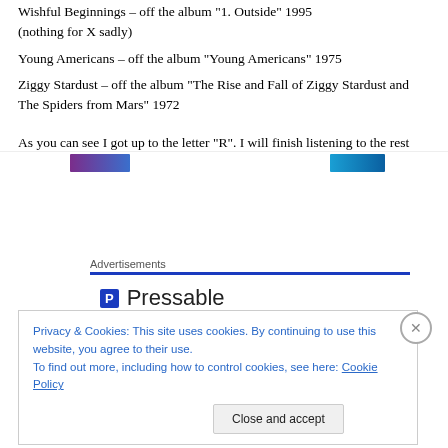Wishful Beginnings – off the album "1. Outside" 1995 (nothing for X sadly)
Young Americans – off the album "Young Americans" 1975
Ziggy Stardust – off the album "The Rise and Fall of Ziggy Stardust and The Spiders from Mars" 1972
As you can see I got up to the letter "R". I will finish listening to the rest tonight.
Advertisements
[Figure (logo): Pressable logo with blue P icon and Pressable text]
Privacy & Cookies: This site uses cookies. By continuing to use this website, you agree to their use.
To find out more, including how to control cookies, see here: Cookie Policy
Close and accept